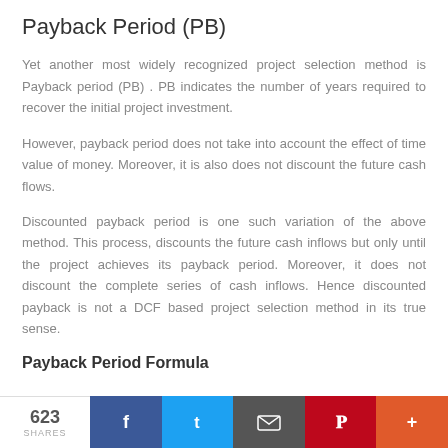Payback Period (PB)
Yet another most widely recognized project selection method is Payback period (PB) . PB indicates the number of years required to recover the initial project investment.
However, payback period does not take into account the effect of time value of money. Moreover, it is also does not discount the future cash flows.
Discounted payback period is one such variation of the above method. This process, discounts the future cash inflows but only until the project achieves its payback period. Moreover, it does not discount the complete series of cash inflows. Hence discounted payback is not a DCF based project selection method in its true sense.
Payback Period Formula
623 SHARES | Facebook | Twitter | Email | Pinterest | More